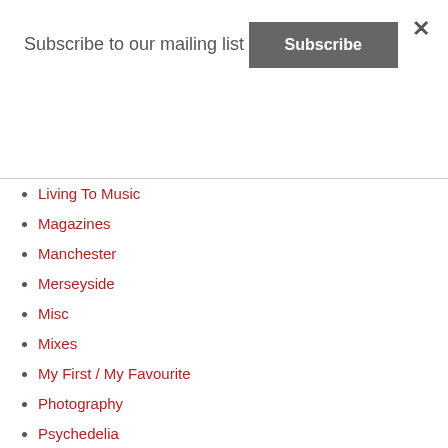Subscribe to our mailing list
Subscribe
Living To Music
Magazines
Manchester
Merseyside
Misc
Mixes
My First / My Favourite
Photography
Psychedelia
Radio
Random Influences
Read
Records
Remixes / Edits
RIP